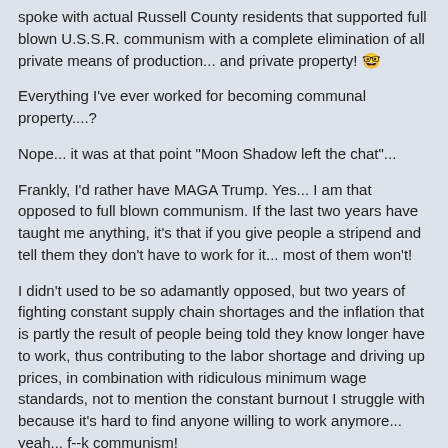spoke with actual Russell County residents that supported full blown U.S.S.R. communism with a complete elimination of all private means of production... and private property! 😲
Everything I've ever worked for becoming communal property....?
Nope... it was at that point "Moon Shadow left the chat"...
Frankly, I'd rather have MAGA Trump. Yes... I am that opposed to full blown communism. If the last two years have taught me anything, it's that if you give people a stripend and tell them they don't have to work for it... most of them won't!
I didn't used to be so adamantly opposed, but two years of fighting constant supply chain shortages and the inflation that is partly the result of people being told they know longer have to work, thus contributing to the labor shortage and driving up prices, in combination with ridiculous minimum wage standards, not to mention the constant burnout I struggle with because it's hard to find anyone willing to work anymore... yeah... f--k communism!
Bodycon
Member Extraordinaire
Re: I thought this was a good twitter thread